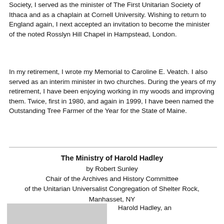Society, I served as the minister of The First Unitarian Society of Ithaca and as a chaplain at Cornell University. Wishing to return to England again, I next accepted an invitation to become the minister of the noted Rosslyn Hill Chapel in Hampstead, London.
In my retirement, I wrote my Memorial to Caroline E. Veatch. I also served as an interim minister in two churches. During the years of my retirement, I have been enjoying working in my woods and improving them. Twice, first in 1980, and again in 1999, I have been named the Outstanding Tree Farmer of the Year for the State of Maine.
The Ministry of Harold Hadley
by Robert Sunley
Chair of the Archives and History Committee
of the Unitarian Universalist Congregation of Shelter Rock, Manhasset, NY
Harold Hadley, an